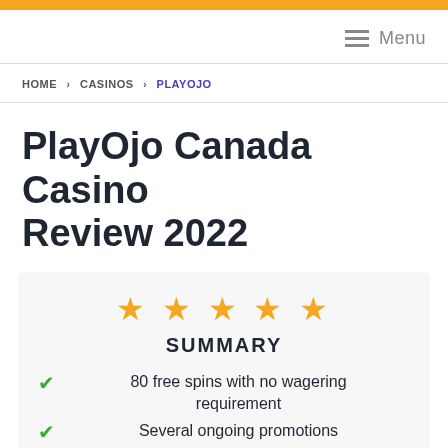Menu
HOME › CASINOS › PLAYOJO
PlayOjo Canada Casino Review 2022
SUMMARY
80 free spins with no wagering requirement
Several ongoing promotions
Huge amount of slots